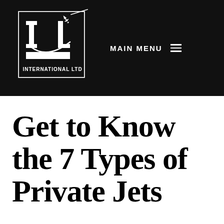[Figure (logo): JL International Ltd logo — white square border on black background with stylized 'JL' letters and airplane silhouette flying out of top-right corner, with 'INTERNATIONAL LTD' text below]
MAIN MENU ≡
Get to Know the 7 Types of Private Jets